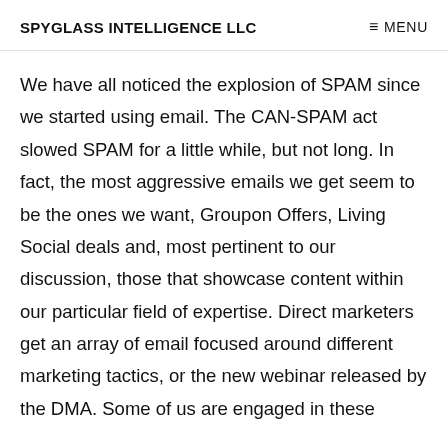SPYGLASS INTELLIGENCE LLC  ≡ MENU
We have all noticed the explosion of SPAM since we started using email. The CAN-SPAM act slowed SPAM for a little while, but not long. In fact, the most aggressive emails we get seem to be the ones we want, Groupon Offers, Living Social deals and, most pertinent to our discussion, those that showcase content within our particular field of expertise. Direct marketers get an array of email focused around different marketing tactics, or the new webinar released by the DMA. Some of us are engaged in these